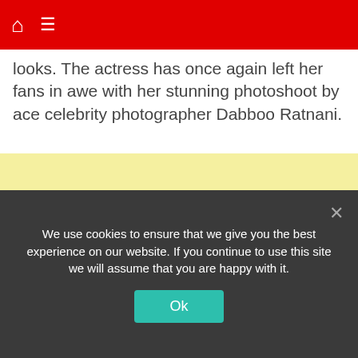Home | Menu
looks. The actress has once again left her fans in awe with her stunning photoshoot by ace celebrity photographer Dabboo Ratnani.
[Figure (other): Yellow advertisement placeholder block]
We use cookies to ensure that we give you the best experience on our website. If you continue to use this site we will assume that you are happy with it. Ok